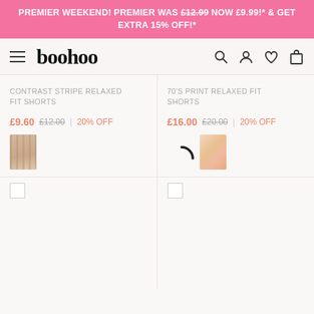PREMIER WEEKEND! PREMIER WAS £12.99 NOW £9.99!* & GET EXTRA 15% OFF!*
[Figure (screenshot): Boohoo website navigation bar with hamburger menu, boohoo logo, search, account, wishlist and cart icons]
CONTRAST STRIPE RELAXED FIT SHORTS
£9.60  £12.00  |  20% OFF
70'S PRINT RELAXED FIT SHORTS
£16.00  £20.00  |  20% OFF
[Figure (photo): Product swatch thumbnail for contrast stripe shorts]
[Figure (photo): Product swatch thumbnail for 70s print shorts]
[Figure (other): Loading spinner arc]